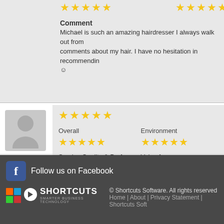[Figure (other): Star ratings row at top (two groups of 5 stars each, golden/yellow)]
Comment
Michael is such an amazing hairdresser I always walk out from comments about my hair. I have no hesitation in recommending ☺
[Figure (other): Reviewer avatar silhouette icon, grey background]
Kathryn
02 Apr 2022
[Figure (other): 5-star rating (5 stars) overall for Kathryn's review]
Overall
[Figure (other): Overall: 5 stars (golden)]
Environment
[Figure (other): Environment: 5 stars (golden)]
Service Quality & Prof. Advice
[Figure (other): Service Quality & Prof. Advice: 5 stars (golden)]
Value for money
[Figure (other): Value for money: 5 stars (golden)]
1 2 3 4 5 6 7 8 9 10 ... 698 699 1 - 6
Follow us on Facebook © Shortcuts Software. All rights reserved Home | About | Privacy Statement | Shortcuts Soft
[Figure (logo): Shortcuts Software logo with colored squares and arrow icon]